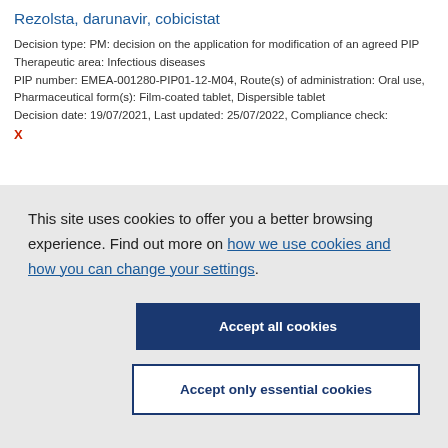Rezolsta, darunavir, cobicistat
Decision type: PM: decision on the application for modification of an agreed PIP
Therapeutic area: Infectious diseases
PIP number: EMEA-001280-PIP01-12-M04, Route(s) of administration: Oral use, Pharmaceutical form(s): Film-coated tablet, Dispersible tablet
Decision date: 19/07/2021, Last updated: 25/07/2022, Compliance check: X
This site uses cookies to offer you a better browsing experience. Find out more on how we use cookies and how you can change your settings.